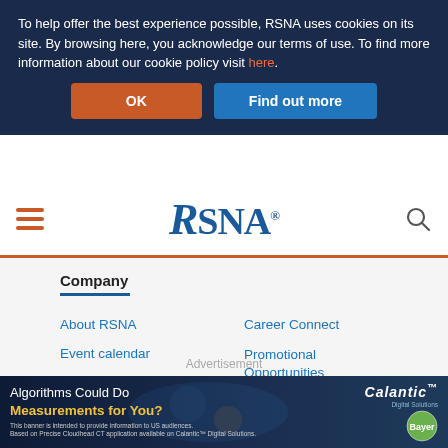To help offer the best experience possible, RSNA uses cookies on its site. By browsing here, you acknowledge our terms of use. To find more information about our cookie policy visit here.
OK
Find out more
[Figure (logo): RSNA logo with hamburger menu and search icon in navigation bar]
Company
About RSNA
Event calendar
Jobs at RSNA
Contact
Career Connect
Promotional Opportunities
RSNA News
R&E Foundation
Information for:
Patients
Companies & exhibitors
Advertisement
[Figure (photo): Advertisement banner: Algorithms Could Do Measurements for You? Calantic by Bayer]